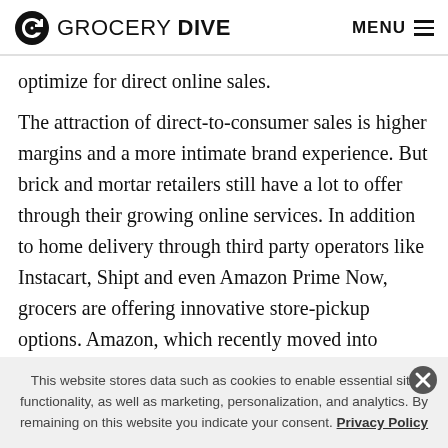GROCERY DIVE  MENU
optimize for direct online sales.
The attraction of direct-to-consumer sales is higher margins and a more intimate brand experience. But brick and mortar retailers still have a lot to offer through their growing online services. In addition to home delivery through third party operators like Instacart, Shipt and even Amazon Prime Now, grocers are offering innovative store-pickup options. Amazon, which recently moved into
This website stores data such as cookies to enable essential site functionality, as well as marketing, personalization, and analytics. By remaining on this website you indicate your consent. Privacy Policy